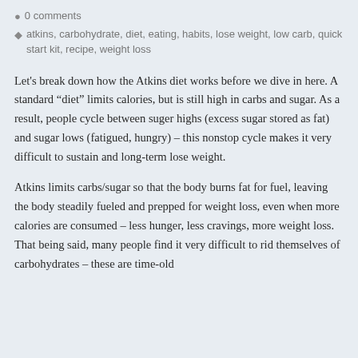0 comments
atkins, carbohydrate, diet, eating, habits, lose weight, low carb, quick start kit, recipe, weight loss
Let's break down how the Atkins diet works before we dive in here. A standard “diet” limits calories, but is still high in carbs and sugar. As a result, people cycle between suger highs (excess sugar stored as fat) and sugar lows (fatigued, hungry) – this nonstop cycle makes it very difficult to sustain and long-term lose weight.
Atkins limits carbs/sugar so that the body burns fat for fuel, leaving the body steadily fueled and prepped for weight loss, even when more calories are consumed – less hunger, less cravings, more weight loss. That being said, many people find it very difficult to rid themselves of carbohydrates – these are time-old